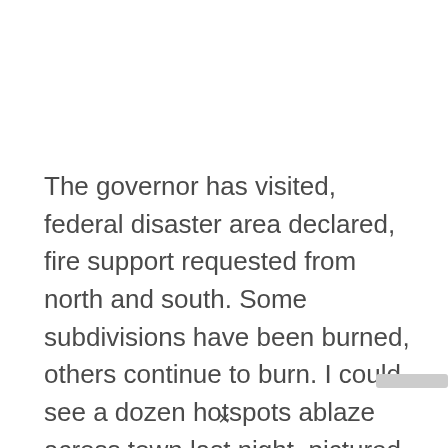The governor has visited, federal disaster area declared, fire support requested from north and south. Some subdivisions have been burned, others continue to burn. I could see a dozen hotspots ablaze across town last night, pictured above. It will be several days before we know if or when we can return to our neighborhood. The fire is not expected to be contained for 3-4 weeks.